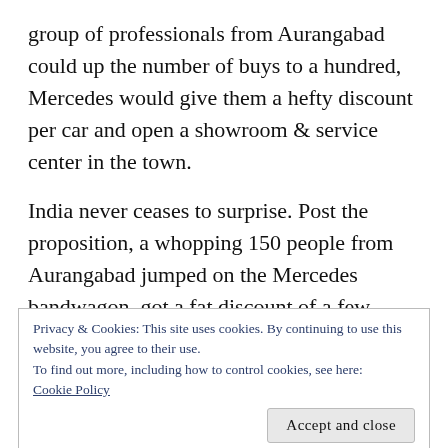group of professionals from Aurangabad could up the number of buys to a hundred, Mercedes would give them a hefty discount per car and open a showroom & service center in the town.
India never ceases to surprise. Post the proposition, a whopping 150 people from Aurangabad jumped on the Mercedes bandwagon, got a fat discount of a few lakhs on each car, and by citing Mercedes as collateral, even managed to lower the bank interest on their car loans from 12% to about 7%!
Privacy & Cookies: This site uses cookies. By continuing to use this website, you agree to their use.
To find out more, including how to control cookies, see here:
Cookie Policy
Accept and close
[Figure (photo): Partial photo of a person's face at the bottom of the page, partially obscured by cookie banner overlay]